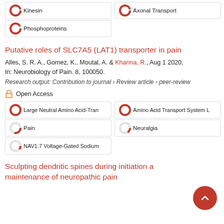Kinesin
Axonal Transport
Phosphoproteins
Putative roles of SLC7A5 (LAT1) transporter in pain
Alles, S. R. A., Gomez, K., Moutal, A. & Khanna, R., Aug 1 2020, In: Neurobiology of Pain. 8, 100050.
Research output: Contribution to journal › Review article › peer-review
Open Access
Large Neutral Amino Acid-Tran
Amino Acid Transport System L
Pain
Neuralgia
NAV1.7 Voltage-Gated Sodium
Sculpting dendritic spines during initiation and maintenance of neuropathic pain